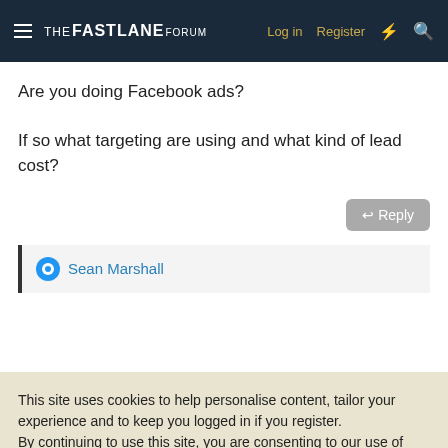THE FASTLANE FORUM  Log in  Register
Are you doing Facebook ads?

If so what targeting are using and what kind of lead cost?
Reply
Sean Marshall
This site uses cookies to help personalise content, tailor your experience and to keep you logged in if you register.
By continuing to use this site, you are consenting to our use of cookies.
Accept  Learn more...